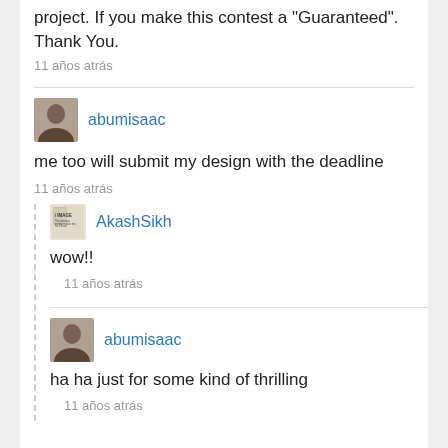project. If you make this contest a 'Guaranteed'. Thank You.
11 años atrás
abumisaac
me too will submit my design with the deadline
11 años atrás
AkashSikh
wow!!
11 años atrás
abumisaac
ha ha just for some kind of thrilling
11 años atrás